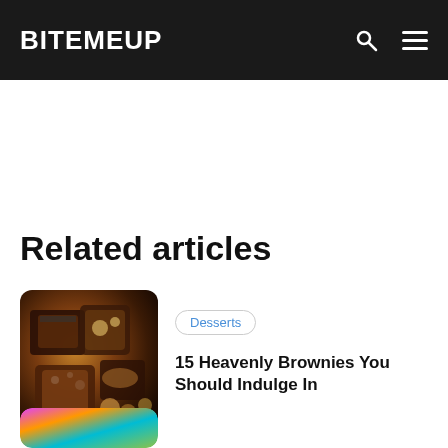BITEMEUP
Related articles
[Figure (photo): Overhead photo of assorted brownies with toppings including seeds, nuts, and dried fruits on a dark background]
Desserts
15 Heavenly Brownies You Should Indulge In
[Figure (photo): Colorful abstract photo with pink, orange, teal, and green tones]